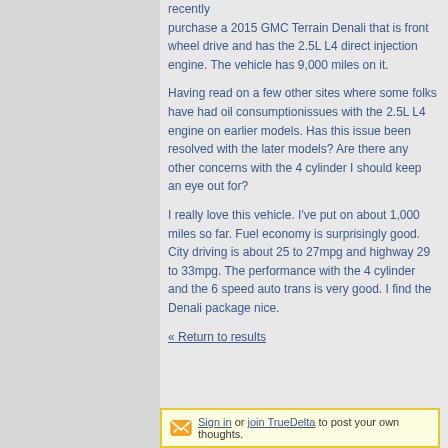recently purchase a 2015 GMC Terrain Denali that is front wheel drive and has the 2.5L L4 direct injection engine. The vehicle has 9,000 miles on it.
Having read on a few other sites where some folks have had oil consumptionissues with the 2.5L L4 engine on earlier models. Has this issue been resolved with the later models? Are there any other concerns with the 4 cylinder I should keep an eye out for?
I really love this vehicle. I've put on about 1,000 miles so far. Fuel economy is surprisingly good. City driving is about 25 to 27mpg and highway 29 to 33mpg. The performance with the 4 cylinder and the 6 speed auto trans is very good. I find the Denali package nice.
« Return to results
Sign in or join TrueDelta to post your own thoughts.